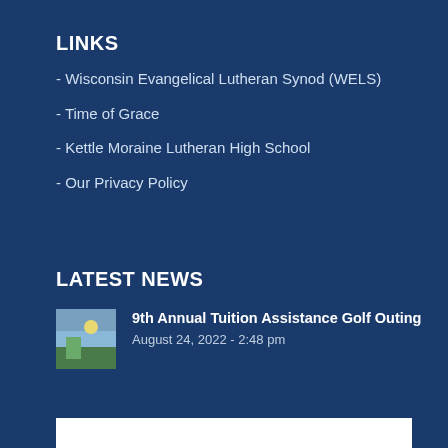LINKS
- Wisconsin Evangelical Lutheran Synod (WELS)
- Time of Grace
- Kettle Moraine Lutheran High School
- Our Privacy Policy
LATEST NEWS
[Figure (photo): Thumbnail image of a golf course scene with green grass and sky]
9th Annual Tuition Assistance Golf Outing
August 24, 2022 - 2:48 pm